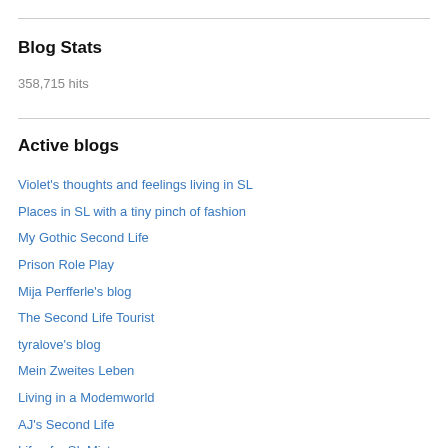Blog Stats
358,715 hits
Active blogs
Violet's thoughts and feelings living in SL
Places in SL with a tiny pinch of fashion
My Gothic Second Life
Prison Role Play
Mija Perfferle's blog
The Second Life Tourist
tyralove's blog
Mein Zweites Leben
Living in a Modemworld
AJ's Second Life
Life of a SL Mistress
Trick Sinister's Bad Day Blog